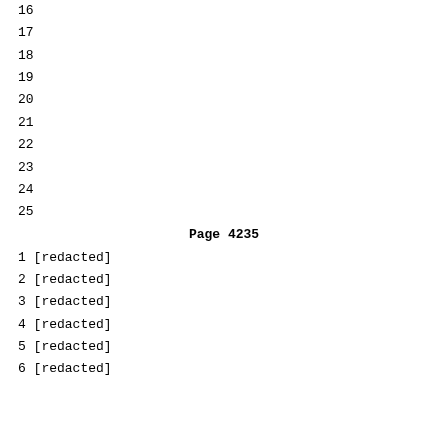16
17
18
19
20
21
22
23
24
25
Page  4235
1  [redacted]
2  [redacted]
3  [redacted]
4  [redacted]
5  [redacted]
6  [redacted]